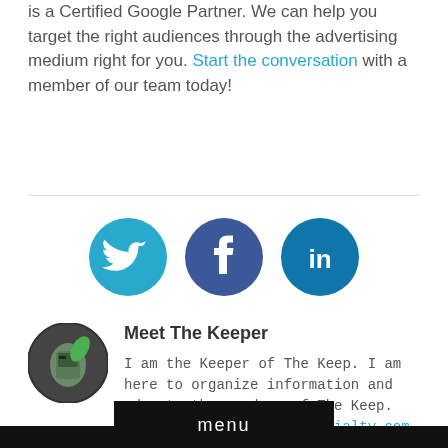is a Certified Google Partner. We can help you target the right audiences through the advertising medium right for you. Start the conversation with a member of our team today!
[Figure (illustration): Three social media icons: Twitter (teal circle with bird), Facebook (blue circle with f), LinkedIn (blue circle with in)]
Meet The Keeper
I am the Keeper of The Keep. I am here to organize information and educate the readers of The Keep. Email me at info@ibenspecialty.com
menu